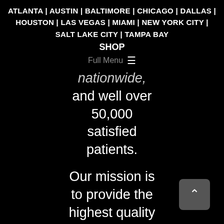ATLANTA | AUSTIN | BALTIMORE | CHICAGO | DALLAS | HOUSTON | LAS VEGAS | MIAMI | NEW YORK CITY | SALT LAKE CITY | TAMPA BAY
SHOP
Full Menu ≡
nationwide, and well over 50,000 satisfied patients.
Our mission is to provide the highest quality plastic surgery at affordable prices proving that being